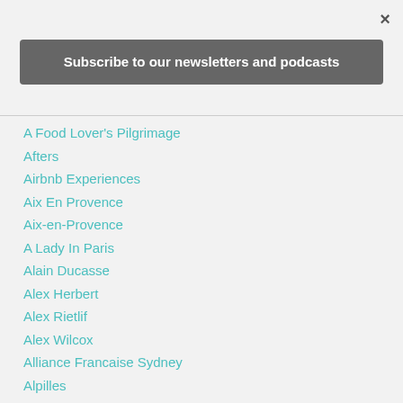×
Subscribe to our newsletters and podcasts
A Food Lover's Pilgrimage
Afters
Airbnb Experiences
Aix En Provence
Aix-en-Provence
A Lady In Paris
Alain Ducasse
Alex Herbert
Alex Rietlif
Alex Wilcox
Alliance Francaise Sydney
Alpilles
Alsace
Alto Olives
Anason
Anatolia